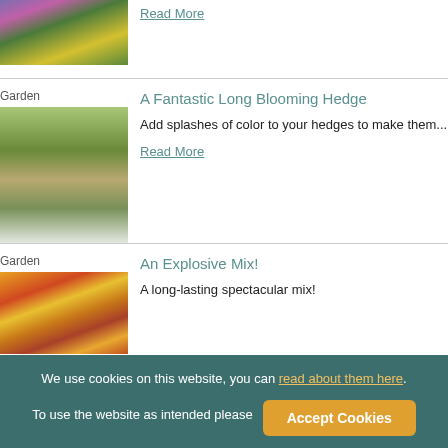[Figure (photo): Colorful garden flowers including purple, pink and yellow blooms]
Read More
Garden
[Figure (photo): English garden with house, hedge borders and white flowers]
A Fantastic Long Blooming Hedge
Add splashes of color to your hedges to make them...
Read More
Garden
[Figure (photo): Colorful mix of orange, red and yellow flowers]
An Explosive Mix!
A long-lasting spectacular mix!
We use cookies on this website, you can read about them here. To use the website as intended please Accept Cookies